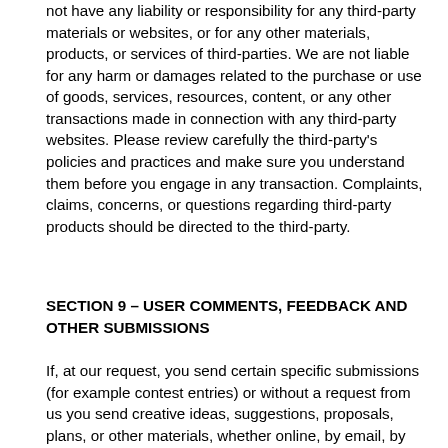not have any liability or responsibility for any third-party materials or websites, or for any other materials, products, or services of third-parties. We are not liable for any harm or damages related to the purchase or use of goods, services, resources, content, or any other transactions made in connection with any third-party websites. Please review carefully the third-party's policies and practices and make sure you understand them before you engage in any transaction. Complaints, claims, concerns, or questions regarding third-party products should be directed to the third-party.
SECTION 9 – USER COMMENTS, FEEDBACK AND OTHER SUBMISSIONS
If, at our request, you send certain specific submissions (for example contest entries) or without a request from us you send creative ideas, suggestions, proposals, plans, or other materials, whether online, by email, by postal mail, or otherwise (collectively, 'comments'), you agree that we may, at